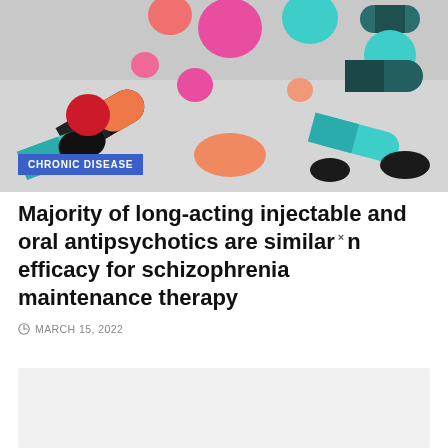[Figure (photo): Assorted colorful pills and capsules scattered on a surface — pink, teal, black-orange, red, and other colored tablets and capsules]
CHRONIC DISEASE
Majority of long-acting injectable and oral antipsychotics are similar in efficacy for schizophrenia maintenance therapy
MARCH 15, 2022
[Figure (other): Gray placeholder box]